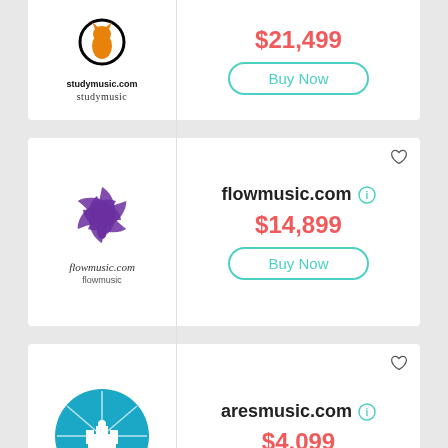[Figure (logo): studymusic.com logo with orange cat figure in black circle, text 'studymusic.com' and 'studymusic' below]
$21,499
Buy Now
[Figure (logo): flowmusic.com logo with purple shutter/spiral design, cursive text 'flowmusic.com' and 'flowmusic' below]
flowmusic.com
$14,899
Buy Now
[Figure (logo): aresmusic.com logo with blue circle containing castle/figures with rays, text 'aresmusic.com' in blue and 'aresmusic' below]
aresmusic.com
$4,099
Buy Now